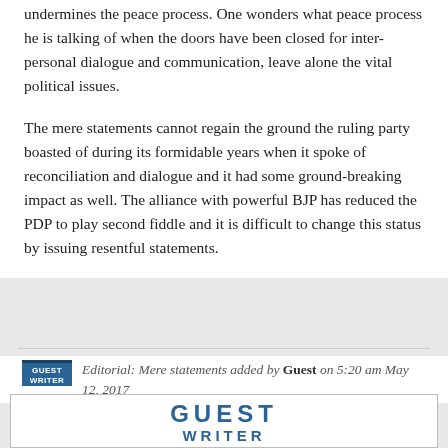undermines the peace process. One wonders what peace process he is talking of when the doors have been closed for inter-personal dialogue and communication, leave alone the vital political issues.
The mere statements cannot regain the ground the ruling party boasted of during its formidable years when it spoke of reconciliation and dialogue and it had some ground-breaking impact as well. The alliance with powerful BJP has reduced the PDP to play second fiddle and it is difficult to change this status by issuing resentful statements.
Editorial: Mere statements added by Guest on 5:20 am May 12, 2017
Privacy & Cookies: This site uses cookies. By continuing to use this website, you agree to their use.
To find out more, including how to control cookies, see here: Cookie Policy
[Figure (logo): Guest Writer logo in blue bold uppercase text]